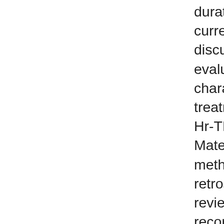duration for Hr-TB are currently under discussion. We evaluated the characteristics and treatment outcomes of Hr-TB patients. Materials and methods: We retrospectively reviewed the medical records of Hr-TB patients treated at a South Korean tertiary referral hospital from January 2005 to December 2018. Results: We included 195 Hr-TB patients. 113 (57.9%) were male, and the median age was 56.6 [interquartile range, 40.2-68.6] years. Mutations in katG were the